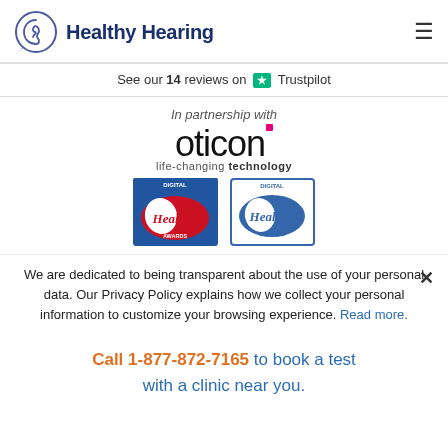Healthy Hearing
See our 14 reviews on Trustpilot
In partnership with
[Figure (logo): Oticon logo with pink square dot above letter i, and tagline 'life-changing technology']
[Figure (logo): Two Digital Health Awards badge logos side by side]
We are dedicated to being transparent about the use of your personal data. Our Privacy Policy explains how we collect your personal information to customize your browsing experience. Read more.
Call 1-877-872-7165 to book a test with a clinic near you.